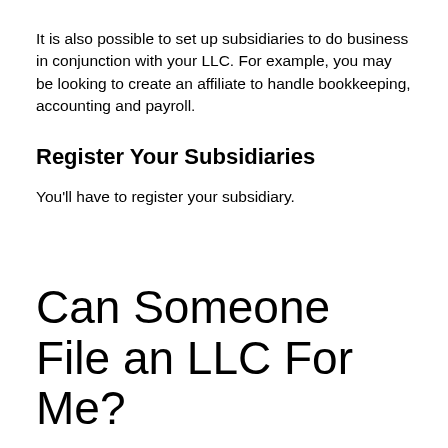It is also possible to set up subsidiaries to do business in conjunction with your LLC. For example, you may be looking to create an affiliate to handle bookkeeping, accounting and payroll.
Register Your Subsidiaries
You’ll have to register your subsidiary.
Can Someone File an LLC For Me?